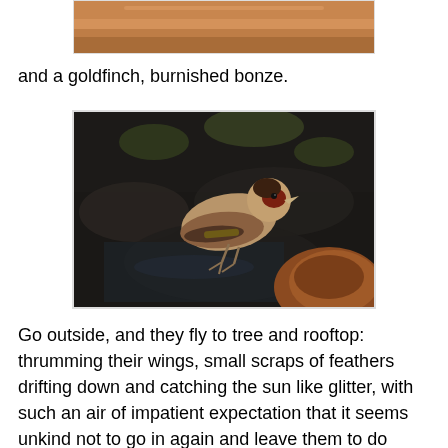[Figure (photo): Partial view of a terracotta/brown bowl or bird bath, cropped at top of page]
and a goldfinch, burnished bonze.
[Figure (photo): A goldfinch bird standing on a wet surface with dark rocky background and a brown terracotta object visible in lower right corner]
Go outside, and they fly to tree and rooftop: thrumming their wings, small scraps of feathers drifting down and catching the sun like glitter, with such an air of impatient expectation that it seems unkind not to go in again and leave them to do